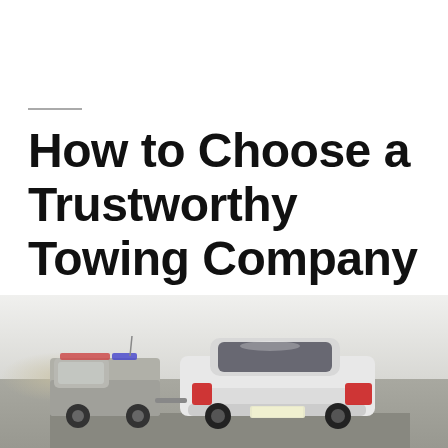How to Choose a Trustworthy Towing Company
[Figure (photo): Rear view of a white car being towed on a road, overcast sky background with blurred trees on the left side]